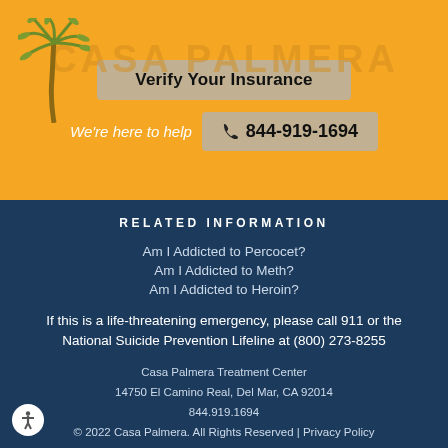[Figure (logo): Casa Palmera palm tree logo and text on golden/orange background with 'Verify Your Insurance' button and phone number 844-919-1694]
RELATED INFORMATION
Am I Addicted to Percocet?
Am I Addicted to Meth?
Am I Addicted to Heroin?
If this is a life-threatening emergency, please call 911 or the National Suicide Prevention Lifeline at (800) 273-8255
Casa Palmera Treatment Center
14750 El Camino Real, Del Mar, CA 92014
844.919.1694
© 2022 Casa Palmera. All Rights Reserved | Privacy Policy